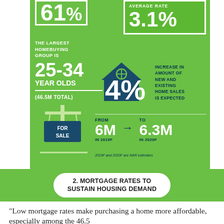[Figure (infographic): Real estate housing market infographic on green background. Shows: largest homebuying group is 25-34 year olds (46.5M total), average rate 3.1%, 4% increase in new and existing home sales expected, from 6M in 2019F to 6.3M in 2020F. Includes for sale sign icon and house icon.]
2. MORTGAGE RATES TO SUSTAIN HOUSING DEMAND
“Low mortgage rates make purchasing a home more affordable, especially among the 46.5